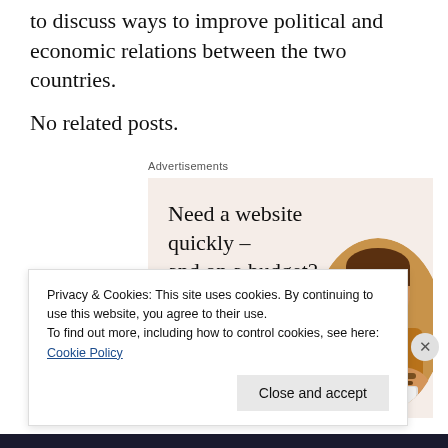to discuss ways to improve political and economic relations between the two countries.
No related posts.
Advertisements
[Figure (infographic): Advertisement banner with beige background. Headline: 'Need a website quickly – and on a budget?' Subtext: 'Let us build it for you'. Button: 'Let's get started'. Right side shows a circular cropped photo of a person working on a laptop.]
Privacy & Cookies: This site uses cookies. By continuing to use this website, you agree to their use.
To find out more, including how to control cookies, see here: Cookie Policy
Close and accept